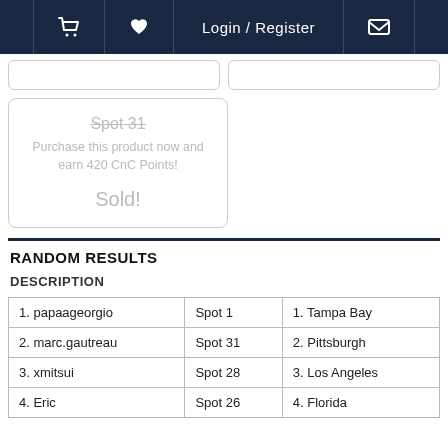🛒  ♥  Login / Register  ✉
Spot 31
Purchase this product now and earn 420 CnC Points!
Sold!
RANDOM RESULTS
DESCRIPTION
| 1. papaageorgio | Spot 1 | 1. Tampa Bay |
| 2. marc.gautreau | Spot 31 | 2. Pittsburgh |
| 3. xmitsui | Spot 28 | 3. Los Angeles |
| 4. Eric | Spot 26 | 4. Florida |